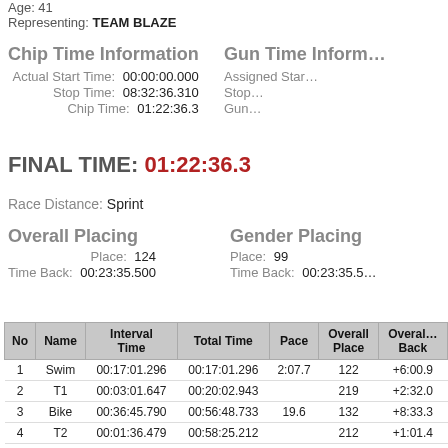Age: 41
Representing: TEAM BLAZE
Chip Time Information
Actual Start Time: 00:00:00.000
Stop Time: 08:32:36.310
Chip Time: 01:22:36.3
Gun Time Information
Assigned Start Time: (cut off)
Stop Time: (cut off)
Gun Time: (cut off)
FINAL TIME: 01:22:36.3
Race Distance: Sprint
Overall Placing
Place: 124
Time Back: 00:23:35.500
Gender Placing
Place: 99
Time Back: 00:23:35.5
| No | Name | Interval Time | Total Time | Pace | Overall Place | Overall Back |
| --- | --- | --- | --- | --- | --- | --- |
| 1 | Swim | 00:17:01.296 | 00:17:01.296 | 2:07.7 | 122 | +6:00.9 |
| 2 | T1 | 00:03:01.647 | 00:20:02.943 |  | 219 | +2:32.0 |
| 3 | Bike | 00:36:45.790 | 00:56:48.733 | 19.6 | 132 | +8:33.3 |
| 4 | T2 | 00:01:36.479 | 00:58:25.212 |  | 212 | +1:01.4 |
| 5 | Run | 00:24:11.098 | 01:22:36.310 | 7:48.1 | 100 | +6:00.8 |